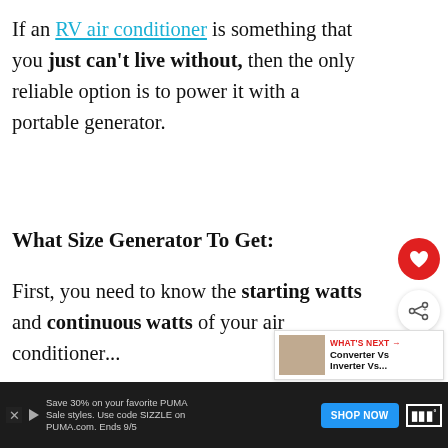If an RV air conditioner is something that you just can’t live without, then the only reliable option is to power it with a portable generator.
What Size Generator To Get:
First, you need to know the starting watts and continuous watts of your air conditioner...
[Figure (other): Red circular heart/save button and share button on right sidebar]
[Figure (other): What's Next card showing thumbnail and text: Converter Vs Inverter Vs...]
Save 30% on your favorite PUMA Sale styles. Use code SIZZLE on PUMA.com. Ends 9/5